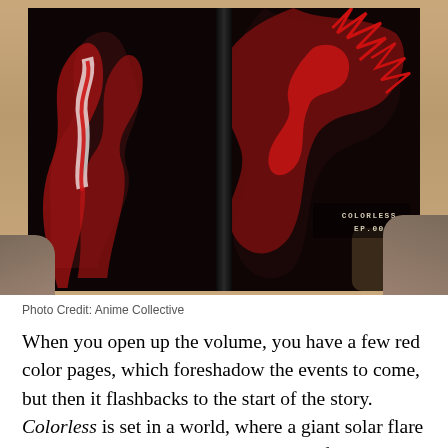[Figure (photo): A photo of two hands holding open a manga volume called 'Colorless EP.00'. The open spread shows dark red and black artwork featuring a monstrous creature with spikes and red accents. The book is resting on a wooden table surface.]
Photo Credit: Anime Collective
When you open up the volume, you have a few red color pages, which foreshadow the events to come, but then it flashbacks to the start of the story. Colorless is set in a world, where a giant solar flare called Mercy Pulse, wiped the world of its color and